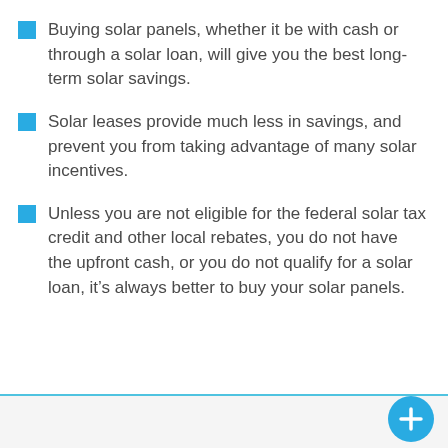Buying solar panels, whether it be with cash or through a solar loan, will give you the best long-term solar savings.
Solar leases provide much less in savings, and prevent you from taking advantage of many solar incentives.
Unless you are not eligible for the federal solar tax credit and other local rebates, you do not have the upfront cash, or you do not qualify for a solar loan, it’s always better to buy your solar panels.